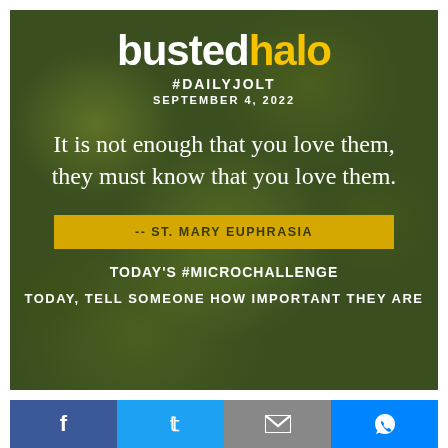[Figure (infographic): Busted Halo Daily Jolt inspirational card for September 4, 2022. Green bokeh background with quote by St. Mary Euphrasia: 'It is not enough that you love them, they must know that you love them.' Yellow attribution bar and microchallenge section at bottom.]
bustedhalo
#DAILYJOLT
SEPTEMBER 4, 2022
It is not enough that you love them, they must know that you love them.
-- ST. MARY EUPHRASIA
TODAY'S #MICROCHALLENGE
TODAY, TELL SOMEONE HOW IMPORTANT THEY ARE